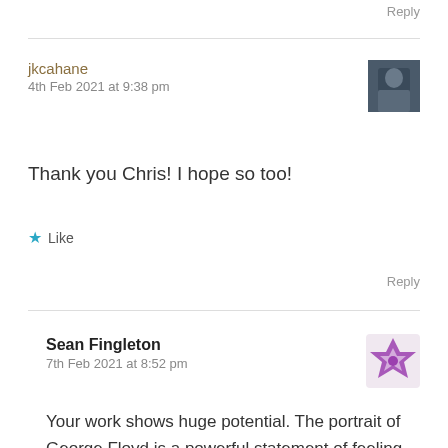Reply
jkcahane
4th Feb 2021 at 9:38 pm
Thank you Chris! I hope so too!
Like
Reply
Sean Fingleton
7th Feb 2021 at 8:52 pm
Your work shows huge potential. The portrait of George Floyd is a powerful statement of feeling and justifies your interest in portrait and figuration. In it